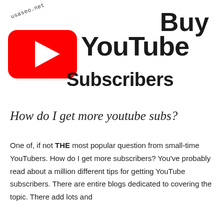[Figure (logo): YouTube logo with red rounded rectangle and white play triangle, alongside large bold black text reading 'Buy YouTube Subscribers']
How do I get more youtube subs?
One of, if not THE most popular question from small-time YouTubers. How do I get more subscribers? You've probably read about a million different tips for getting YouTube subscribers. There are entire blogs dedicated to covering the topic. There add lots and